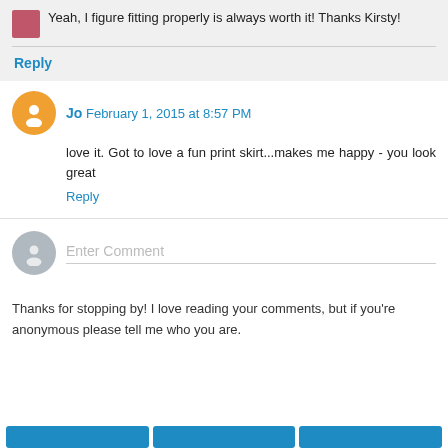Yeah, I figure fitting properly is always worth it! Thanks Kirsty!
Reply
Jo  February 1, 2015 at 8:57 PM
love it. Got to love a fun print skirt...makes me happy - you look great
Reply
Enter Comment
Thanks for stopping by! I love reading your comments, but if you're anonymous please tell me who you are.